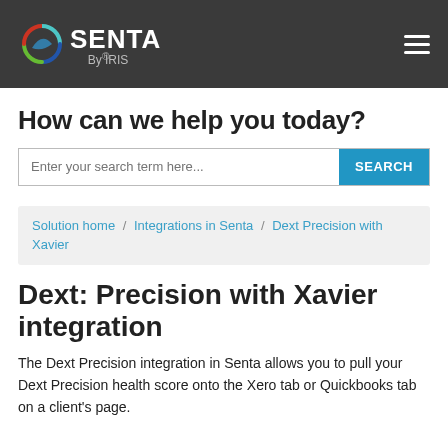[Figure (logo): Senta by IRIS logo on dark grey header bar with hamburger menu icon]
How can we help you today?
Enter your search term here... SEARCH
Solution home / Integrations in Senta / Dext Precision with Xavier
Dext: Precision with Xavier integration
The Dext Precision integration in Senta allows you to pull your Dext Precision health score onto the Xero tab or Quickbooks tab on a client's page.